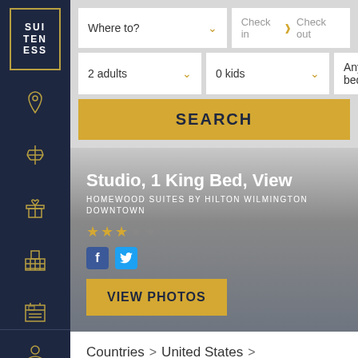[Figure (logo): Suiteness logo - gold bordered box with SUI TEN ESS text on dark navy sidebar]
Where to?
Check in > Check out
2 adults
0 kids
Any bedrooms
SEARCH
Studio, 1 King Bed, View
HOMEWOOD SUITES BY HILTON WILMINGTON DOWNTOWN
VIEW PHOTOS
Countries > United States > Delaware > Wilmington >